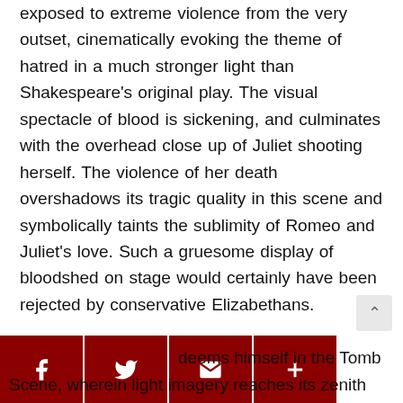exposed to extreme violence from the very outset, cinematically evoking the theme of hatred in a much stronger light than Shakespeare's original play. The visual spectacle of blood is sickening, and culminates with the overhead close up of Juliet shooting herself. The violence of her death overshadows its tragic quality in this scene and symbolically taints the sublimity of Romeo and Juliet's love. Such a gruesome display of bloodshed on stage would certainly have been rejected by conservative Elizabethans.
deems himself in the Tomb Scene, wherein light imagery reaches its zenith